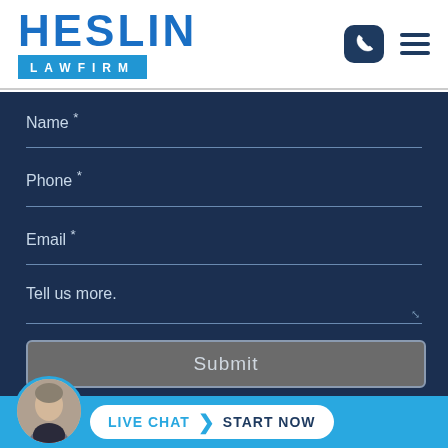[Figure (logo): Heslin Law Firm logo — HESLIN in large blue letters above a blue bar reading LAW FIRM]
[Figure (infographic): Phone icon in dark navy rounded square and hamburger menu icon]
Name *
Phone *
Email *
Tell us more.
Submit
LIVE CHAT  START NOW